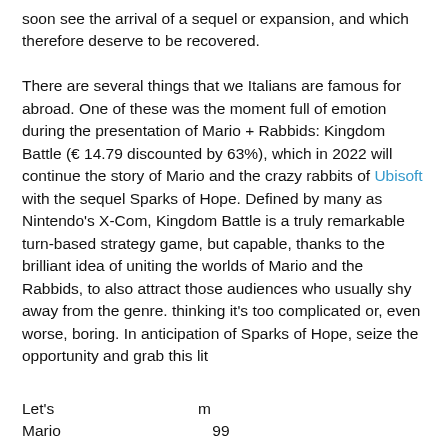soon see the arrival of a sequel or expansion, and which therefore deserve to be recovered.

There are several things that we Italians are famous for abroad. One of these was the moment full of emotion during the presentation of Mario + Rabbids: Kingdom Battle (€ 14.79 discounted by 63%), which in 2022 will continue the story of Mario and the crazy rabbits of Ubisoft with the sequel Sparks of Hope. Defined by many as Nintendo's X-Com, Kingdom Battle is a truly remarkable turn-based strategy game, but capable, thanks to the brilliant idea of uniting the worlds of Mario and the Rabbids, to also attract those audiences who usually shy away from the genre. thinking it's too complicated or, even worse, boring. In anticipation of Sparks of Hope, seize the opportunity and grab this lit
[Figure (screenshot): Next Article button (blue rounded rectangle) overlapping with a Close X button (gray) and a pink/red advertisement banner saying MEET WITH LOCAL SINGLES with clover branding and close icons]
Let's ... m
Mario ... 99